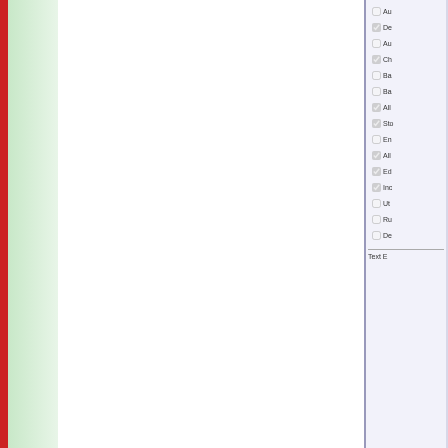[Figure (screenshot): Partial screenshot of a software UI panel with a list of checkboxes. Items visible include De..., Au..., Ch..., Ba..., Ba..., All..., Sto..., En..., All..., Ed..., Inc..., Ut..., Ru..., De..., and Text E... at the bottom. Some checkboxes are checked (shown with checkmark), others are unchecked.]
Step 2
Schedule a simulation using Run Manager.  Notice that clicking this button, the simulation is sent to the Simula